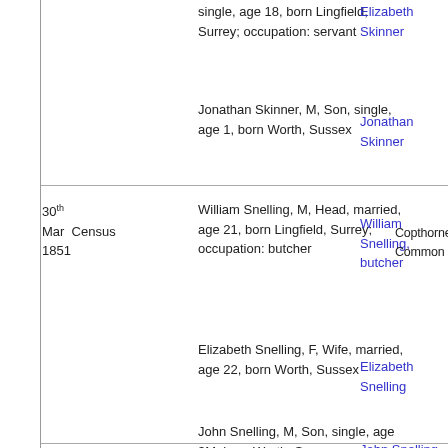| Date | Type | Description | Person | Place | Reference |
| --- | --- | --- | --- | --- | --- |
|  |  | single, age 18, born Lingfield, Surrey; occupation: servant | Elizabeth Skinner |  |  |
|  |  | Jonathan Skinner, M, Son, single, age 1, born Worth, Sussex | Jonathan Skinner |  |  |
| 30th Mar 1851 | Census | William Snelling, M, Head, married, age 21, born Lingfield, Surrey; occupation: butcher | William Snelling, butcher | Copthorne Common | 1851 Census Worth, Sussex |
|  |  | Elizabeth Snelling, F, Wife, married, age 22, born Worth, Sussex | Elizabeth Snelling |  |  |
|  |  | John Snelling, M, Son, single, age 3M, born Worth, Sussex | John Snelling |  |  |